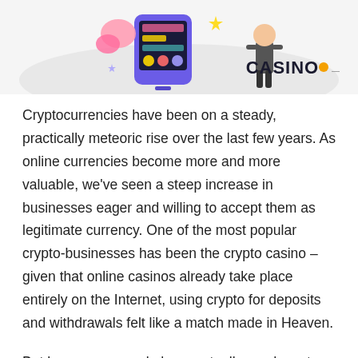[Figure (illustration): Illustration showing a smartphone with casino/gaming interface, decorative elements including a character figure, colorful shapes, on a light grey oval background. Casino.Online logo in top right.]
Cryptocurrencies have been on a steady, practically meteoric rise over the last few years. As online currencies become more and more valuable, we've seen a steep increase in businesses eager and willing to accept them as legitimate currency. One of the most popular crypto-businesses has been the crypto casino – given that online casinos already take place entirely on the Internet, using crypto for deposits and withdrawals felt like a match made in Heaven.
But how many people have actually used crypto for casino games? That's exactly what Casino.Online, one of the most popular casino sites in the world, set out to find